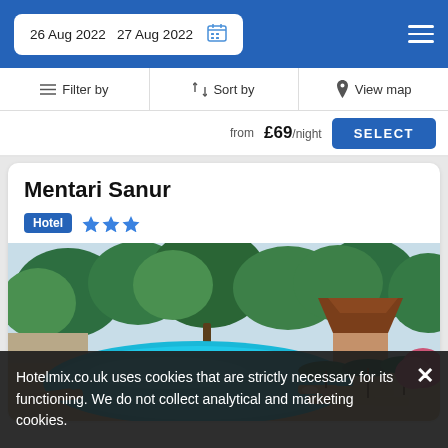26 Aug 2022  27 Aug 2022
Filter by  Sort by  View map
from £69/night  SELECT
Mentari Sanur
Hotel ★★★
[Figure (photo): Outdoor swimming pool with lounge chairs and green umbrellas, tropical garden and traditional Balinese rooftops in background]
Hotelmix.co.uk uses cookies that are strictly necessary for its functioning. We do not collect analytical and marketing cookies.